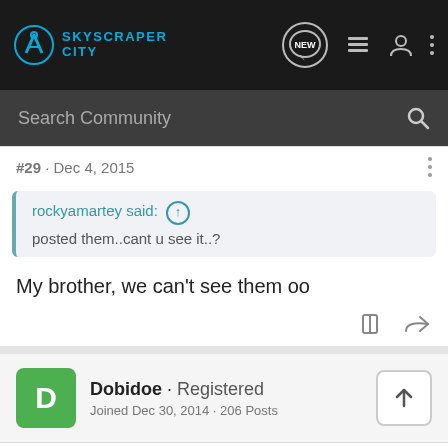SkyscraperCity — navigation bar with logo, NEW button, list icon, user icon, more icon
Search Community
#29 · Dec 4, 2015
rockyamartey said: ↑
posted them..cant u see it..?
My brother, we can't see them oo
Dobidoe · Registered
Joined Dec 30, 2014 · 206 Posts
#30 · Dec 4, 2015